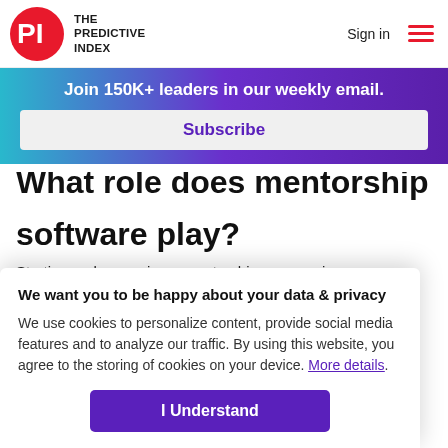THE PREDICTIVE INDEX | Sign in
Join 150K+ leaders in our weekly email.
Subscribe
What role does mentorship software play?
Starting and managing a mentorship program in any
We want you to be happy about your data & privacy
We use cookies to personalize content, provide social media features and to analyze our traffic. By using this website, you agree to the storing of cookies on your device. More details.
I Understand